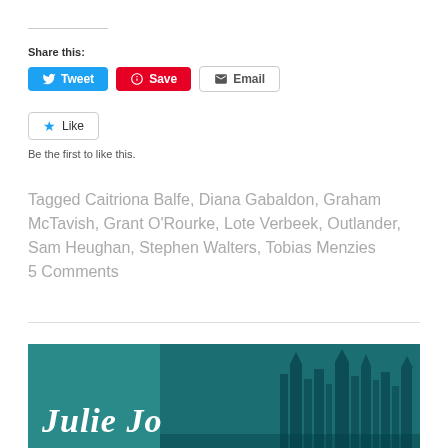Share this:
[Figure (other): Social sharing buttons: Tweet (blue), Save (red/Pinterest), Email (grey outlined)]
[Figure (other): Like button with star icon]
Be the first to like this.
Tagged Caitriona Balfe, Diana Gabaldon, Graham McTavish, Grant O'Rourke, Lote Verbeek, Outlander, Sam Heughan, Stephen Walters, Tobias Menzies
5 Comments
[Figure (illustration): Teal/green banner image with castle silhouette and cursive text reading 'Julie Jo...' (partially visible)]